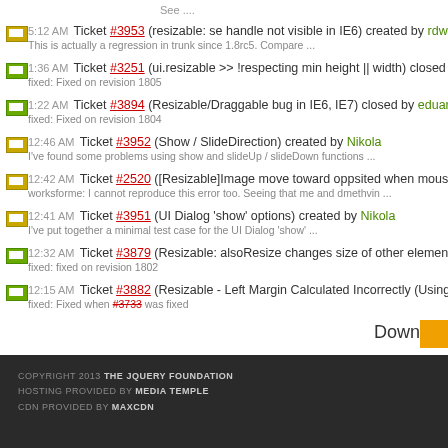See ....
5:12 AM Ticket #3953 (resizable: se handle not visible in IE6) created by rdworth
This is actually a regression in trunk since 1.8rc5. Compare ...
1:36 AM Ticket #3251 (ui.resizable >> !respecting min height || width) closed by eduardo
fixed: Fixed on revision 1805
1:22 AM Ticket #3894 (Resizable/Draggable bug in IE6, IE7) closed by eduardo
fixed: Fixed on revision 1804
12:46 AM Ticket #3952 (Show / SlideDirection) created by Nikola
I've found some problems using show and slideUp / slideDown functions ...
12:42 AM Ticket #2520 ([Resizable]Image move toward oppsited when mouse went out of th
worksforme: I cannot reproduce this error too. Seeing that me and dmethvin ...
12:41 AM Ticket #3951 (UI Dialog 'show' options) created by Nikola
I've put together a minimal test case for the UI Dialog 'show' ...
12:32 AM Ticket #3879 (Resizable: alsoResize changes size of other element(s) in IE6) clos
fixed: fixed on revision 1802
12:15 AM Ticket #3882 (Resizable - Left Margin Calculated Incorrectly (Using Containment)
fixed: Fixed when #3733 was fixed
Downloa
COPYRIGHT 2013 THE JQUERY FOUNDATION
HOSTING PROVIDED BY MEDIA TEMPLE
CDN PROVIDED BY MAXCDN